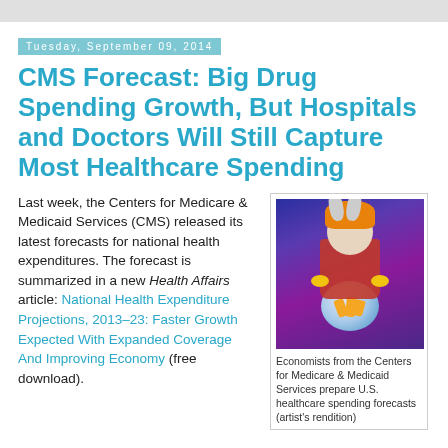Tuesday, September 09, 2014
CMS Forecast: Big Drug Spending Growth, But Hospitals and Doctors Will Still Capture Most Healthcare Spending
Last week, the Centers for Medicare & Medicaid Services (CMS) released its latest forecasts for national health expenditures. The forecast is summarized in a new Health Affairs article: National Health Expenditure Projections, 2013–23: Faster Growth Expected With Expanded Coverage And Improving Economy (free download).
[Figure (illustration): Cartoon illustration of a fortune teller (Bugs Bunny-like character in red robe with stars) looking into a crystal ball containing carrots, set against a purple background. Artist's rendition of economists from CMS preparing forecasts.]
Economists from the Centers for Medicare & Medicaid Services prepare U.S. healthcare spending forecasts (artist's rendition)
I crunch the prescription drug forecasts below. In 2013, prescription drug spending growth was again